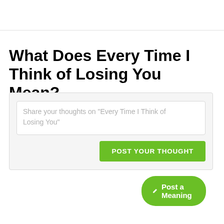What Does Every Time I Think of Losing You Mean?
Share your thoughts on "Every Time I Think of Losing You"
POST YOUR THOUGHT
Post a Meaning